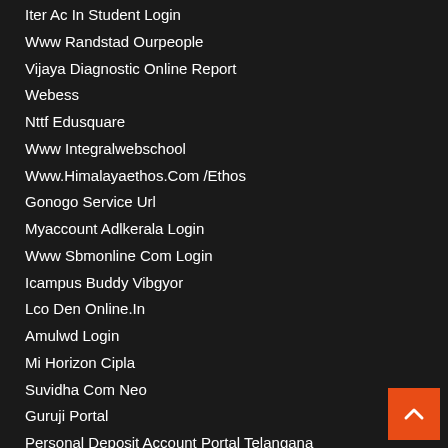Iter Ac In Student Login
Www Randstad Ourpeople
Vijaya Diagnostic Online Report
Webess
Nttf Edusquare
Www Integralwebschool
Www.Himalayaethos.Com /Ethos
Gonogo Service Url
Myaccount Adlkerala Login
Www Sbmonline Com Login
Icampus Buddy Vibgyor
Lco Den Online.In
Amulwd Login
Mi Horizon Cipla
Suvidha Com Neo
Guruji Portal
Personal Deposit Account Portal Telangana
Wbvoc.Gov. In/Page/Login.Pho